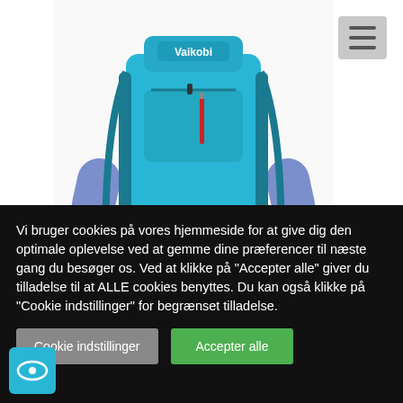[Figure (photo): Person wearing a cyan/blue Vaikobi dry bag backpack 25l, shown from the torso up with the bag on their back, against a white background.]
Pakpose og rygsæk 25l, cyan, Vaikobi
DKK 400,00 DKK 375,00
DKK
SEK
NOK
Vi bruger cookies på vores hjemmeside for at give dig den optimale oplevelse ved at gemme dine præferencer til næste gang du besøger os. Ved at klikke på "Accepter alle" giver du tilladelse til at ALLE cookies benyttes. Du kan også klikke på "Cookie indstillinger" for begrænset tilladelse.
Cookie indstillinger
Accepter alle